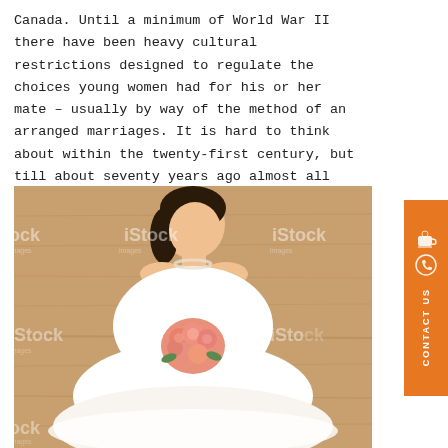Canada. Until a minimum of World War II there have been heavy cultural restrictions designed to regulate the choices young women had for his or her mate – usually by way of the method of an arranged marriages. It is hard to think about within the twenty-first century, but till about seventy years ago almost all Asian ladies have been married in arranged marriages.
[Figure (photo): iStock watermarked photo of an Asian bride in a white wedding dress with lace detail, holding a bouquet of pink roses, viewed from above against a wooden floor background.]